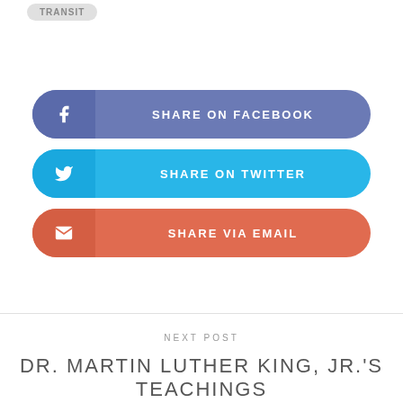TRANSIT
SHARE ON FACEBOOK
SHARE ON TWITTER
SHARE VIA EMAIL
NEXT POST
DR. MARTIN LUTHER KING, JR.'S TEACHINGS INSPIRE TRANSPORTATION LABORS AGENDA